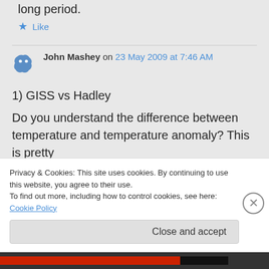long period.
★ Like
John Mashey on 23 May 2009 at 7:46 AM
1) GISS vs Hadley
Do you understand the difference between temperature and temperature anomaly? This is pretty
Privacy & Cookies: This site uses cookies. By continuing to use this website, you agree to their use. To find out more, including how to control cookies, see here: Cookie Policy
Close and accept